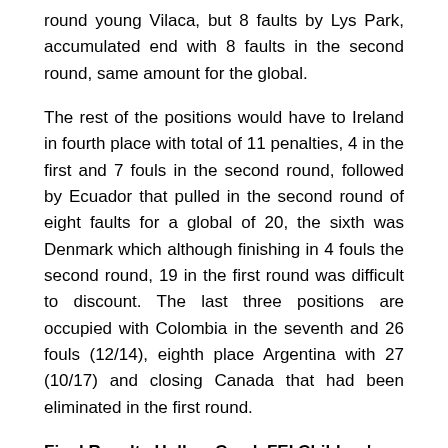round young Vilaca, but 8 faults by Lys Park, accumulated end with 8 faults in the second round, same amount for the global.
The rest of the positions would have to Ireland in fourth place with total of 11 penalties, 4 in the first and 7 fouls in the second round, followed by Ecuador that pulled in the second round of eight faults for a global of 20, the sixth was Denmark which although finishing in 4 fouls the second round, 19 in the first round was difficult to discount. The last three positions are occupied with Colombia in the seventh and 26 fouls (12/14), eighth place Argentina with 27 (10/17) and closing Canada that had been eliminated in the first round.
Final Results Hollow Creek FEI Children's Nations Cup